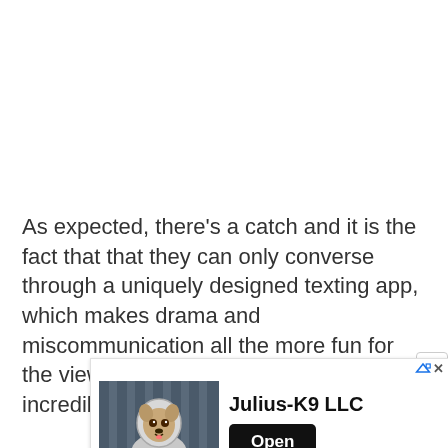As expected, there’s a catch and it is the fact that that they can only converse through a uniquely designed texting app, which makes drama and miscommunication all the more fun for the viewers while making things incredibly difficult for the contestants.
[Figure (screenshot): Mobile app advertisement for Julius-K9 LLC showing a dog wearing a space suit, with an Open button and Julius K9 USA footer.]